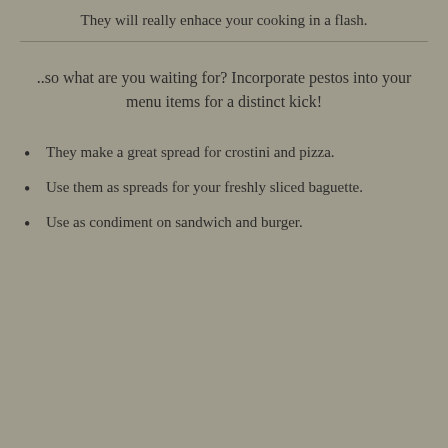They will really enhace your cooking in a flash.
..so what are you waiting for? Incorporate pestos into your menu items for a distinct kick!
They make a great spread for crostini and pizza.
Use them as spreads for your freshly sliced baguette.
Use as condiment on sandwich and burger.